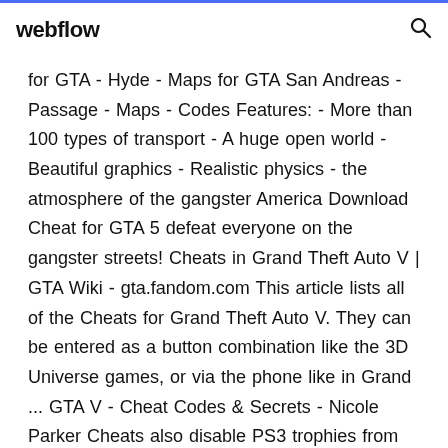webflow
for GTA - Hyde - Maps for GTA San Andreas - Passage - Maps - Codes Features: - More than 100 types of transport - A huge open world - Beautiful graphics - Realistic physics - the atmosphere of the gangster America Download Cheat for GTA 5 defeat everyone on the gangster streets! Cheats in Grand Theft Auto V | GTA Wiki - gta.fandom.com This article lists all of the Cheats for Grand Theft Auto V. They can be entered as a button combination like the 3D Universe games, or via the phone like in Grand ... GTA V - Cheat Codes & Secrets - Nicole Parker Cheats also disable PS3 trophies from being earned for the current game save. Thus, quick save your game before using cheat